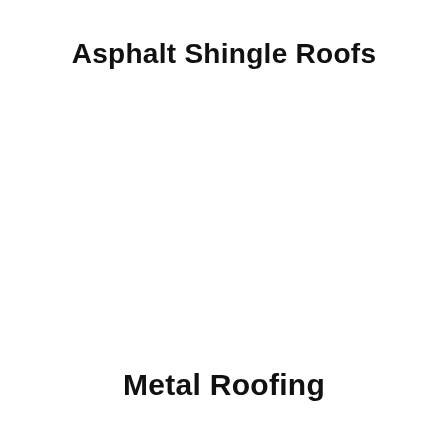Asphalt Shingle Roofs
Metal Roofing